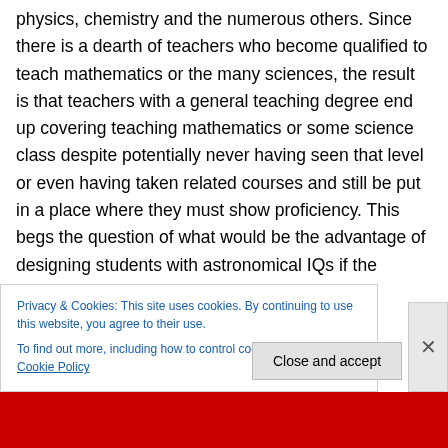physics, chemistry and the numerous others. Since there is a dearth of teachers who become qualified to teach mathematics or the many sciences, the result is that teachers with a general teaching degree end up covering teaching mathematics or some science class despite potentially never having seen that level or even having taken related courses and still be put in a place where they must show proficiency. This begs the question of what would be the advantage of designing students with astronomical IQs if the education system is so broken that it...
Privacy & Cookies: This site uses cookies. By continuing to use this website, you agree to their use.
To find out more, including how to control cookies, see here: Cookie Policy
Close and accept